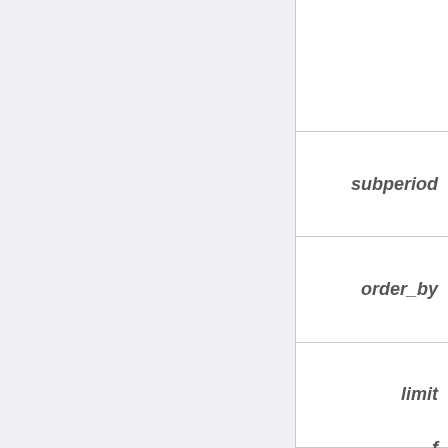|  |  |
| --- | --- |
|  |  |
|  | subperiod |
|  | order_by |
|  | limit |
|  | f... |